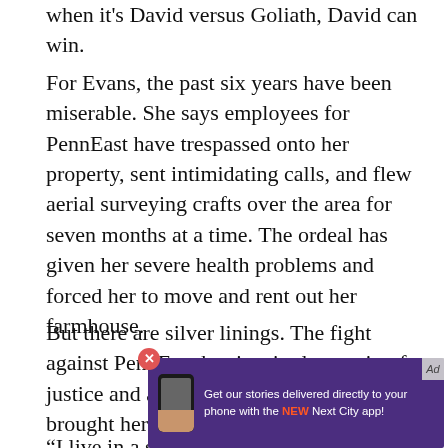when it's David versus Goliath, David can win.
For Evans, the past six years have been miserable. She says employees for PennEast have trespassed onto her property, sent intimidating calls, and flew aerial surveying crafts over the area for seven months at a time. The ordeal has given her severe health problems and forced her to move and rent out her farmhouse.
But there are silver linings. The fight against PennEast has inspired a passion for justice and activism in her children — and brought her closer to her neighbors.
“I live in a small town and I thought I knew every… any other… my
[Figure (other): Advertisement overlay: purple banner with phone graphic and text 'Get our stories delivered directly to your phone with the NEW Next City app!' with close button and ad marker.]